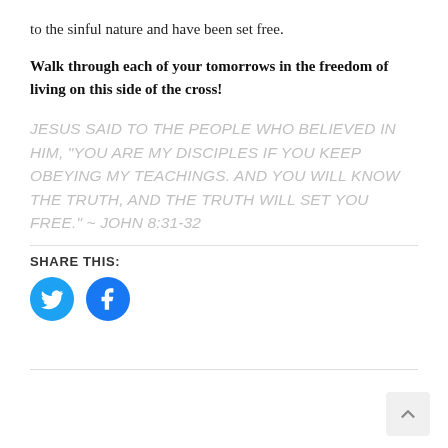to the sinful nature and have been set free.
Walk through each of your tomorrows in the freedom of living on this side of the cross!
JESUS SAID TO THE PEOPLE WHO BELIEVED IN HIM, “YOU ARE MY DISCIPLES IF YOU KEEP OBEYING MY TEACHINGS. AND YOU WILL KNOW THE TRUTH, AND THE TRUTH WILL SET YOU FREE.” ~ JOHN 8:31-32
SHARE THIS:
[Figure (logo): Twitter bird icon in a blue circle]
[Figure (logo): Facebook f icon in a blue circle]